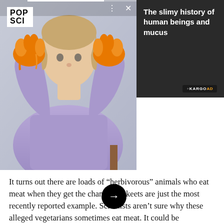[Figure (photo): A child in a purple/lavender long-sleeve shirt holding up their hands covered in orange slime, viewed from the front. The image shows both a top portion with navigation overlay and a bottom continuation.]
The slimy history of human beings and mucus
It turns out there are loads of "herbivorous" animals who eat meat when they get the chance–lorikeets are just the most recently reported example. Scientists aren't sure why these alleged vegetarians sometimes eat meat. It could be pathological, or it could be related to the animal's nutritional deficiencies in salt